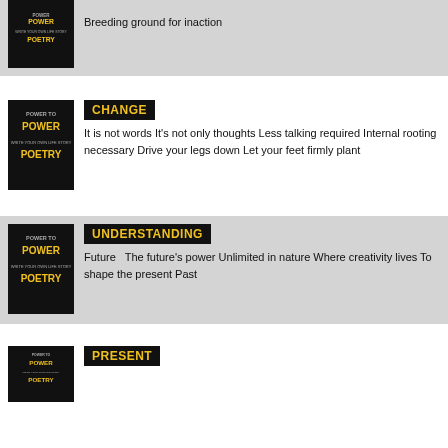[Figure (illustration): Book cover for Power to Write Your Own Life Story Poetry series, black background with text]
Breeding ground for inaction
[Figure (illustration): Book cover for Power to Write Your Own Life Story Poetry series, black background with text]
CHANGE
It is not words It's not only thoughts Less talking required Internal rooting necessary Drive your legs down Let your feet firmly plant
[Figure (illustration): Book cover for Power to Write Your Own Life Story Poetry series, black background with text]
UNDERSTANDING
Future   The future's power Unlimited in nature Where creativity lives To shape the present Past
[Figure (illustration): Book cover for Power to Write Your Own Life Story Poetry series, black background with text]
PRESENT